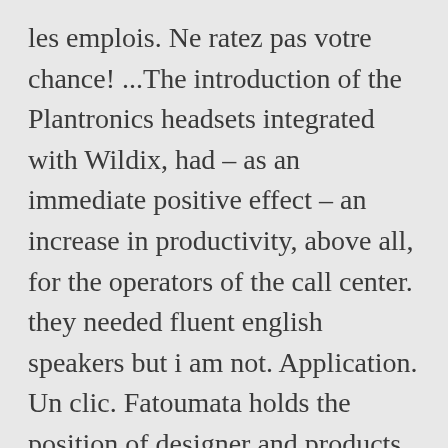les emplois. Ne ratez pas votre chance! ...The introduction of the Plantronics headsets integrated with Wildix, had – as an immediate positive effect – an increase in productivity, above all, for the operators of the call center. they needed fluent english speakers but i am not. Application. Un clic. Fatoumata holds the position of designer and products every day creative supports for her company. Hay moulay abdellah/inara. Did you also received a call from the (unknown) number +353 214 259200 and suspect scam behind it? I applied online and i had a reply asking me to scheduled a phone the next day. Age à partir de 17 ans. The tower stands to a height of approximately 6m,